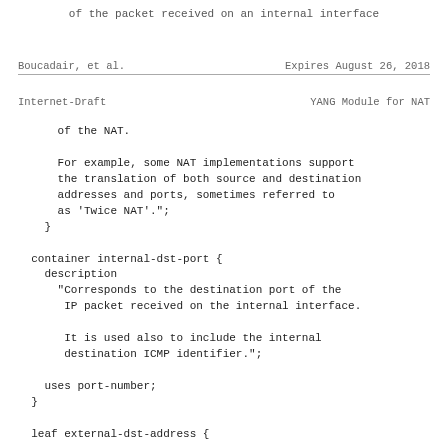of the packet received on an internal interface
Boucadair, et al.        Expires August 26, 2018
Internet-Draft                YANG Module for NAT
of the NAT.

      For example, some NAT implementations support
      the translation of both source and destination
      addresses and ports, sometimes referred to
      as 'Twice NAT'.";
    }

  container internal-dst-port {
    description
      "Corresponds to the destination port of the
       IP packet received on the internal interface.

       It is used also to include the internal
       destination ICMP identifier.";

    uses port-number;
  }

  leaf external-dst-address {